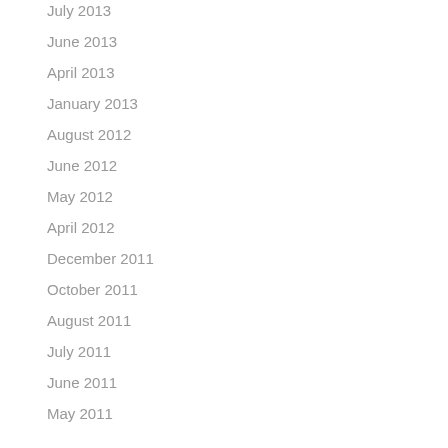July 2013
June 2013
April 2013
January 2013
August 2012
June 2012
May 2012
April 2012
December 2011
October 2011
August 2011
July 2011
June 2011
May 2011